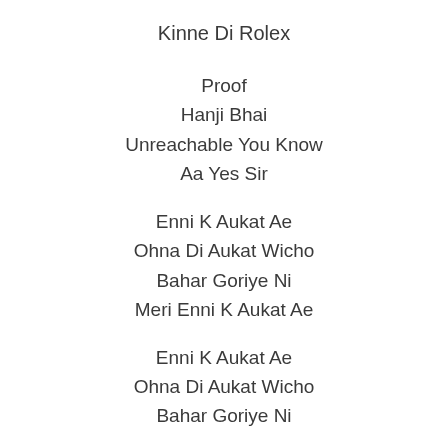Kinne Di Rolex
Proof
Hanji Bhai
Unreachable You Know
Aa Yes Sir
Enni K Aukat Ae
Ohna Di Aukat Wicho
Bahar Goriye Ni
Meri Enni K Aukat Ae
Enni K Aukat Ae
Ohna Di Aukat Wicho
Bahar Goriye Ni